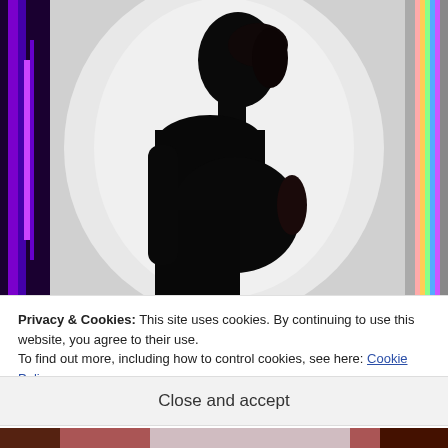[Figure (photo): Silhouette of a pregnant woman in profile against a bright backlit background with purple and rainbow-colored light streaks on the sides. The figure is shown from head to mid-thigh in dark silhouette.]
Privacy & Cookies: This site uses cookies. By continuing to use this website, you agree to their use.
To find out more, including how to control cookies, see here: Cookie Policy
Close and accept
[Figure (photo): Partial view of a second photo at the bottom of the page, showing what appears to be a colorful scene, partially cut off.]